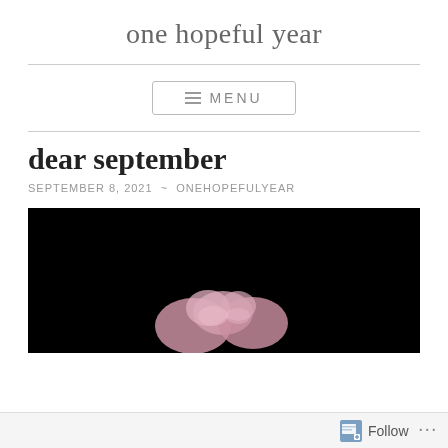one hopeful year
≡ MENU
dear september
SEPTEMBER 8, 2021 ~ ONEHOPEFULYEAR
[Figure (photo): Dark background photo showing pink/mauve flowers or hands holding flowers against black background]
Follow ...